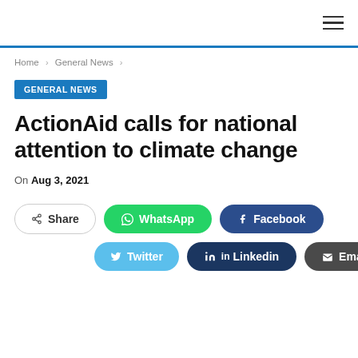Home > General News >
GENERAL NEWS
ActionAid calls for national attention to climate change
On Aug 3, 2021
Share | WhatsApp | Facebook | Twitter | Linkedin | Email